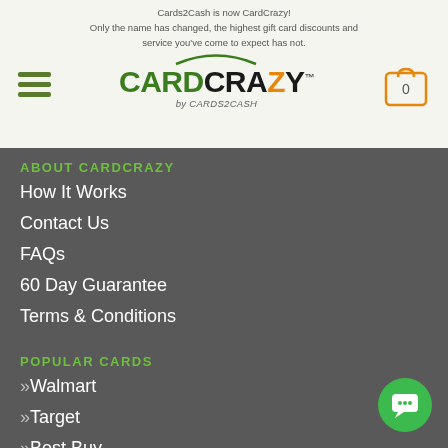Cards2Cash is now CardCrazy! Only the name has changed, the highest gift card discounts and service you've come to expect has not.
[Figure (logo): CardCrazy by CARDS2CASH logo with hamburger menu and cart icon]
ABOUT CARDCRAZY
How It Works
Contact Us
FAQs
60 Day Guarantee
Terms & Conditions
POPULAR CARDS
»Walmart
»Target
»Best Buy
»Home Depot